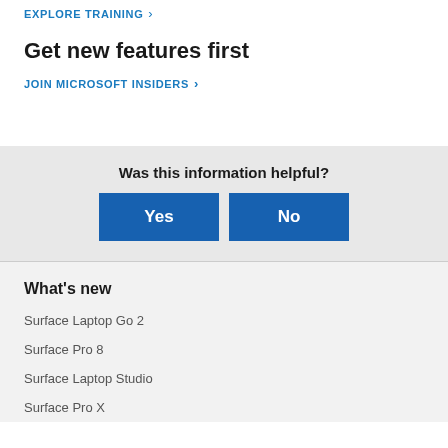EXPLORE TRAINING >
Get new features first
JOIN MICROSOFT INSIDERS >
Was this information helpful?
Yes
No
What's new
Surface Laptop Go 2
Surface Pro 8
Surface Laptop Studio
Surface Pro X